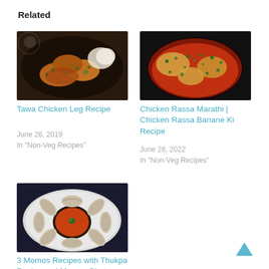Related
[Figure (photo): Tawa Chicken Leg pieces with herbs and garnish served on a plate]
Tawa Chicken Leg Recipe
June 26, 2019
In "Non-Veg Recipes"
[Figure (photo): Chicken Rassa in a dark bowl with red curry sauce, garnished with green herbs]
Chicken Rassa Marathi | Chicken Rassa Banane Ki Recipe
June 28, 2022
In "Non-Veg Recipes"
[Figure (photo): Momos arranged around a bowl of orange chutney on a white plate]
3 Momos Recipes with Thukpa Recipe and Momos Chutney Recipe